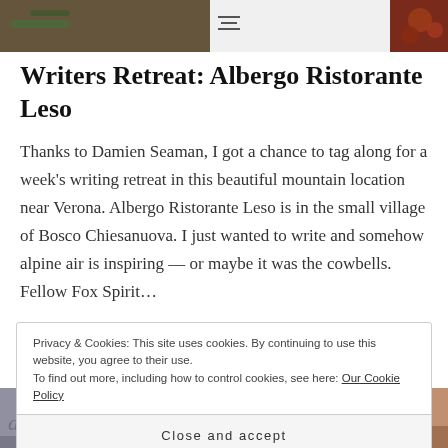[Figure (photo): Top image strip showing food/nature photos partially cropped]
Writers Retreat: Albergo Ristorante Leso
Thanks to Damien Seaman, I got a chance to tag along for a week's writing retreat in this beautiful mountain location near Verona. Albergo Ristorante Leso is in the small village of Bosco Chiesanuova. I just wanted to write and somehow alpine air is inspiring — or maybe it was the cowbells. Fellow Fox Spirit...
Privacy & Cookies: This site uses cookies. By continuing to use this website, you agree to their use.
To find out more, including how to control cookies, see here: Our Cookie Policy
Close and accept
[Figure (photo): Bottom partial images showing portraits/faces]